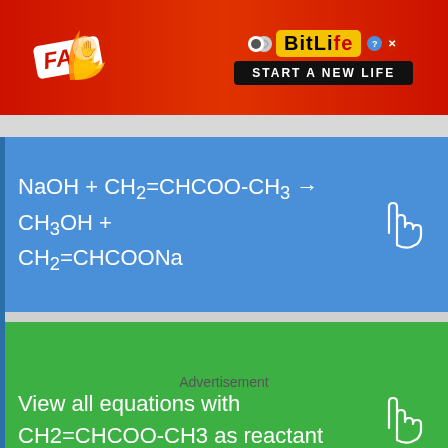[Figure (screenshot): BitLife mobile app advertisement banner with 'FAIL' badge, cartoon character facepalming with fire, BitLife logo, and 'START A NEW LIFE' text]
View all equations with CH2=CHCOO-CH3 as reactant
Advertisement